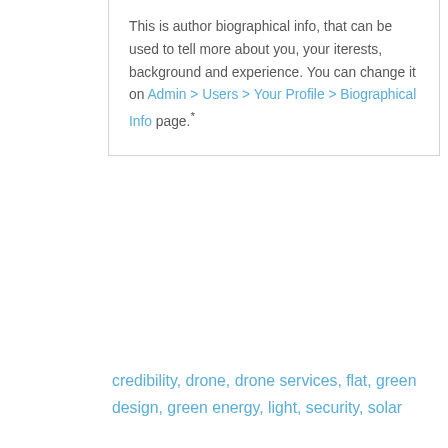This is author biographical info, that can be used to tell more about you, your iterests, background and experience. You can change it on Admin > Users > Your Profile > Biographical Info page.*
credibility, drone, drone services, flat, green design, green energy, light, security, solar
About us
The Solar Standard Processes (SSP) is a proprietary Solar systems solution